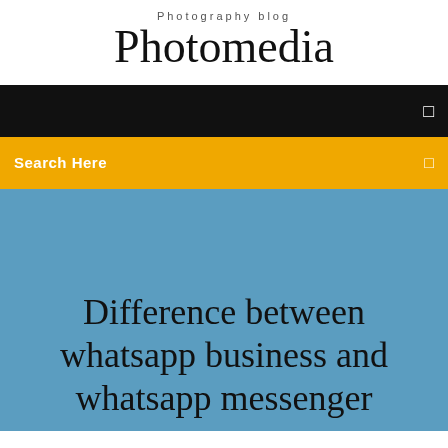Photography blog
Photomedia
[Figure (screenshot): Black navigation bar with a small white menu icon on the right]
[Figure (screenshot): Gold/yellow search bar with 'Search Here' text in white on the left and a small white icon on the right]
Difference between whatsapp business and whatsapp messenger